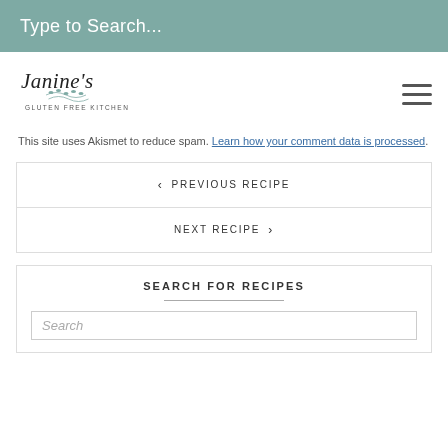Type to Search...
[Figure (logo): Janine's Gluten Free Kitchen logo with cursive script and decorative wheat graphic]
This site uses Akismet to reduce spam. Learn how your comment data is processed.
< PREVIOUS RECIPE
NEXT RECIPE >
SEARCH FOR RECIPES
Search